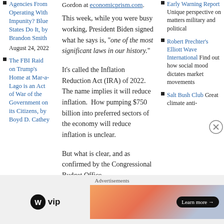Agencies From Operating With Impunity? Blue States Do It, by Brandon Smith August 24, 2022
The FBI Raid on Trump's Home at Mar-a-Lago is an Act of War of the Government on its Citizens, by Boyd D. Cathey
Gordon at economicprism.com.
This week, while you were busy working, President Biden signed what he says is, “one of the most significant laws in our history.”
It’s called the Inflation Reduction Act (IRA) of 2022. The name implies it will reduce inflation. How pumping $750 billion into preferred sectors of the economy will reduce inflation is unclear.
But what is clear, and as confirmed by the Congressional Budget Office,
Early Warning Report Unique perspective on matters military and political
Robert Prechter’s Elliott Wave International Find out how social mood dictates market movements
Salt Bush Club Great climate anti-
Advertisements
[Figure (logo): WordPress VIP logo with WP circle icon and 'vip' text]
[Figure (infographic): Advertisement banner with gradient background and Learn more button]